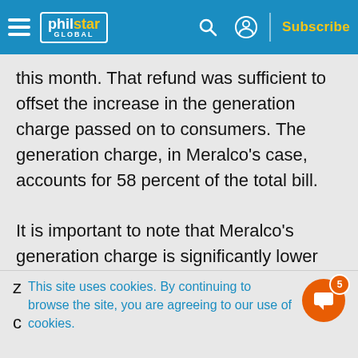philstar GLOBAL — navigation bar with Subscribe
this month. That refund was sufficient to offset the increase in the generation charge passed on to consumers. The generation charge, in Meralco's case, accounts for 58 percent of the total bill.

It is important to note that Meralco's generation charge is significantly lower than in adjacent areas. In April, for instance, Meralco's generation charge was P5.87 per kWh. In the same month, electric cooperatives in Batangas were charging between P7and P8 per kWh. Cooperatives in Tarlac and
This site uses cookies. By continuing to browse the site, you are agreeing to our use of cookies.